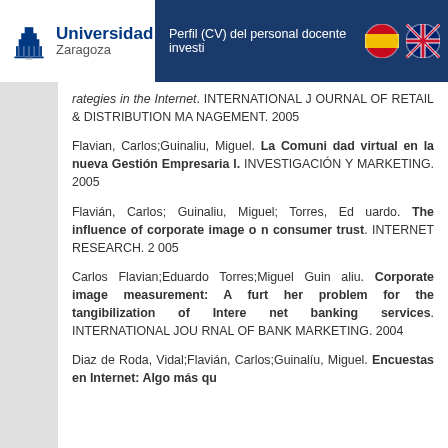Universidad Zaragoza — Perfil (CV) del personal docente investi
rategies in the Internet. INTERNATIONAL JOURNAL OF RETAIL & DISTRIBUTION MANAGEMENT. 2005
Flavian, Carlos;Guinaliu, Miguel. La Comunidad virtual en la nueva Gestión Empresarial. INVESTIGACIÓN Y MARKETING. 2005
Flavián, Carlos; Guinaliu, Miguel; Torres, Eduardo. The influence of corporate image on consumer trust. INTERNET RESEARCH. 2005
Carlos Flavian;Eduardo Torres;Miguel Guinaliu. Corporate image measurement: A further problem for the tangibilization of Internet banking services. INTERNATIONAL JOURNAL OF BANK MARKETING. 2004
Diaz de Roda, Vidal;Flavián, Carlos;Guinalíu, Miguel. Encuestas en Internet: Algo más qu